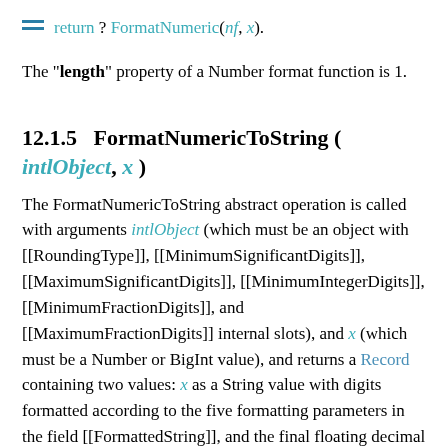return ? FormatNumeric(nf, x).
The "length" property of a Number format function is 1.
12.1.5   FormatNumericToString ( intlObject, x )
The FormatNumericToString abstract operation is called with arguments intlObject (which must be an object with [[RoundingType]], [[MinimumSignificantDigits]], [[MaximumSignificantDigits]], [[MinimumIntegerDigits]], [[MinimumFractionDigits]], and [[MaximumFractionDigits]] internal slots), and x (which must be a Number or BigInt value), and returns a Record containing two values: x as a String value with digits formatted according to the five formatting parameters in the field [[FormattedString]], and the final floating decimal